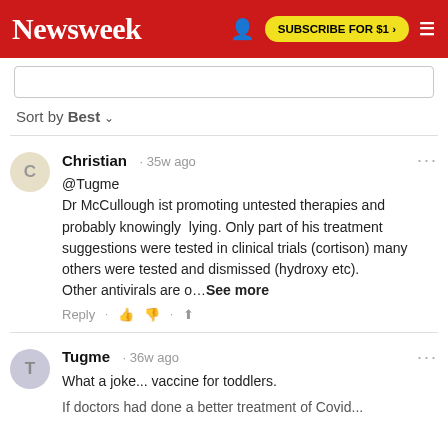Newsweek | SUBSCRIBE FOR $1 >
Sort by Best
Christian · 35w ago
@Tugme
Dr McCullough ist promoting untested therapies and probably knowingly  lying. Only part of his treatment suggestions were tested in clinical trials (cortison) many others were tested and dismissed (hydroxy etc).
Other antivirals are o...See more
Reply
Tugme · 36w ago
What a joke... vaccine for toddlers.